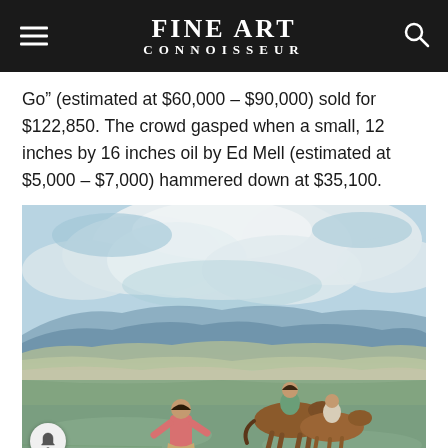FINE ART CONNOISSEUR
Go” (estimated at $60,000 – $90,000) sold for $122,850. The crowd gasped when a small, 12 inches by 16 inches oil by Ed Mell (estimated at $5,000 – $7,000) hammered down at $35,100.
[Figure (photo): Western painting showing Native American figures on horseback in a landscape with mountains and dramatic cloudy sky. Style is impressionistic with muted earth tones and pastels. Two figures on brown horses are in the foreground with rolling hills and mountains behind.]